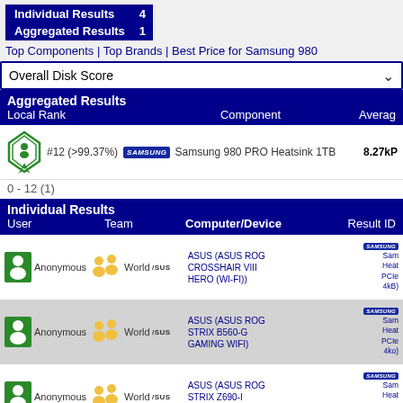|  |  |
| --- | --- |
| Individual Results | 4 |
| Aggregated Results | 1 |
Top Components | Top Brands | Best Price for Samsung 980
Overall Disk Score
Aggregated Results
| Local Rank | Component | Average |
| --- | --- | --- |
| #12 (>99.37%) | Samsung 980 PRO Heatsink 1TB | 8.27kP |
0 - 12 (1)
Individual Results
| User | Team | Computer/Device | Result ID |
| --- | --- | --- | --- |
| Anonymous | World | ASUS (ASUS ROG CROSSHAIR VIII HERO (WI-FI)) | Sam Heat PCIe 4kB) |
| Anonymous | World | ASUS (ASUS ROG STRIX B560-G GAMING WIFI) | Sam Heat PCIe 4ko) |
| Anonymous | World | ASUS (ASUS ROG STRIX Z690-I GAMING WIFI) | Sam Heat PCIe 4kB) |